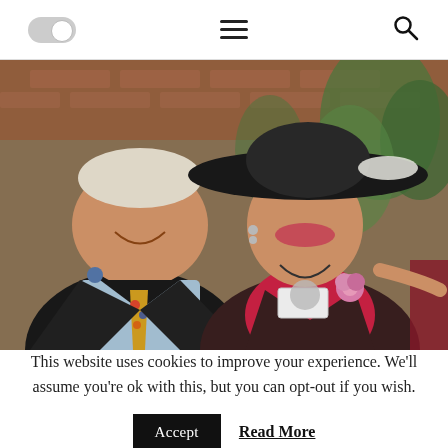[Figure (photo): Website navigation bar with a toggle switch on the left, hamburger menu icon in the center, and a search icon on the right, on a white background.]
[Figure (photo): Two smiling elderly people posing together outdoors. The man on the left wears a dark suit with a colorful floral tie and a button pin. The woman on the right wears a wide-brimmed dark hat, a red top, a dark jacket with a pink flower corsage, and a necklace. Brick wall and green plants in background.]
This website uses cookies to improve your experience. We'll assume you're ok with this, but you can opt-out if you wish.
Accept  Read More